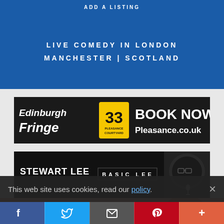ADD A LISTING
LIVE COMEDY IN LONDON
MANCHESTER | SCOTLAND
[Figure (photo): Edinburgh Fringe - Pleasance Courtyard banner ad. Number 33, BOOK NOW, Pleasance.co.uk]
[Figure (photo): Stewart Lee - BASIC LEE promotional banner ad]
[Figure (photo): Hive 2 Monkey Barrel Comedy 12:30PM banner ad]
This web site uses cookies, read our policy.
f  Twitter  Email  Pinterest  +